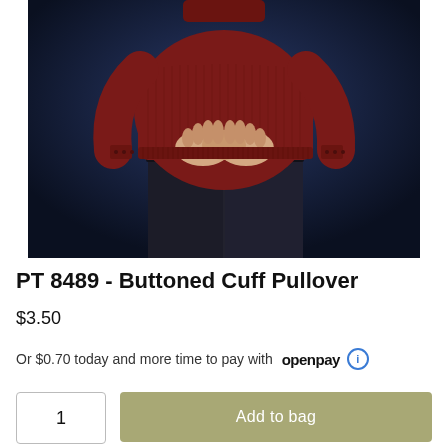[Figure (photo): A person wearing a dark red/maroon ribbed knit pullover sweater with buttoned cuffs, paired with dark jeans, photographed against a dark blue background. Only the torso and hands are visible.]
PT 8489 - Buttoned Cuff Pullover
$3.50
Or $0.70 today and more time to pay with openpay ℹ
1
Add to bag